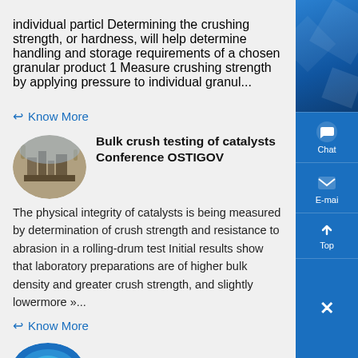individual particl Determining the crushing strength, or hardness, will help determine handling and storage requirements of a chosen granular product 1 Measure crushing strength by applying pressure to individual granul...
Know More
Bulk crush testing of catalysts Conference OSTIGOV
[Figure (photo): Circular thumbnail photo of an industrial plant or mining facility with large machinery.]
The physical integrity of catalysts is being measured by determination of crush strength and resistance to abrasion in a rolling-drum test Initial results show that laboratory preparations are of higher bulk density and greater crush strength, and slightly lowermore »...
Know More
Physical Properties of Granular
[Figure (photo): Circular thumbnail photo showing a blue granular or powder material.]